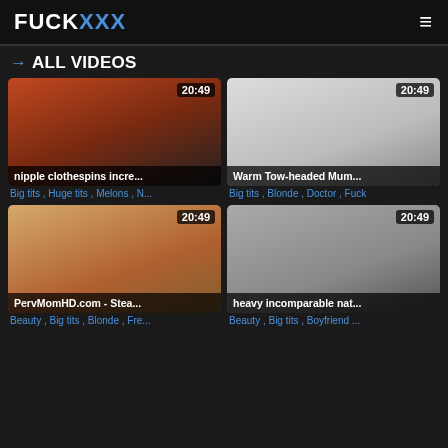FUCKXXX
→ ALL VIDEOS
[Figure (photo): Video thumbnail: nipple clothespins incre... Duration: 20:49]
Big tits , Huge tits , Melons , N...
[Figure (photo): Video thumbnail: Warm Tow-headed Mum... Duration: 20:49]
Big tits , Blonde , Doctor , Fuck
[Figure (photo): Video thumbnail: PervMomHD.com - Stea... Duration: 20:49]
Beauty , Big tits , Blonde , Fre...
[Figure (photo): Video thumbnail: heavy incomparable nat... Duration: 20:49]
Beauty , Big tits , Boyfriend ...